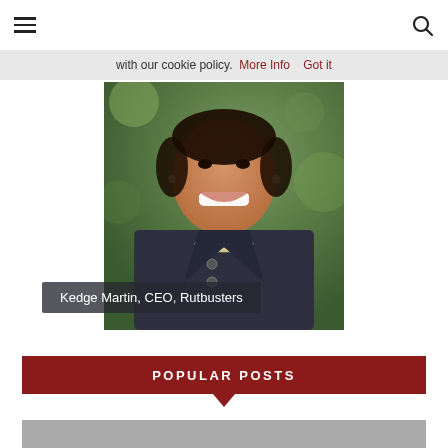Navigation bar with hamburger menu and search icon
with our cookie policy.  More Info   Got it
[Figure (photo): Portrait photo of Kedge Martin, CEO of Rutbusters, smiling woman wearing dark jacket and pearl necklace, with green bokeh background]
Kedge Martin, CEO, Rutbusters
POPULAR POSTS